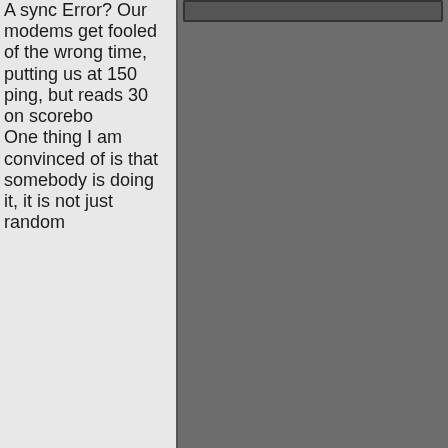A sync Error? Our modems get fooled of the wrong time, putting us at 150 ping, but reads 30 on scoreboard. One thing I am convinced of is that somebody is doing it, it is not just random
[Figure (screenshot): A dark gray rectangular UI element at the top right, resembling a toolbar or header bar with a dark border.]